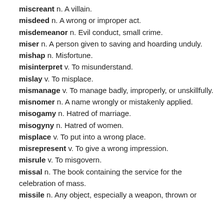miscreant n. A villain.
misdeed n. A wrong or improper act.
misdemeanor n. Evil conduct, small crime.
miser n. A person given to saving and hoarding unduly.
mishap n. Misfortune.
misinterpret v. To misunderstand.
mislay v. To misplace.
mismanage v. To manage badly, improperly, or unskillfully.
misnomer n. A name wrongly or mistakenly applied.
misogamy n. Hatred of marriage.
misogyny n. Hatred of women.
misplace v. To put into a wrong place.
misrepresent v. To give a wrong impression.
misrule v. To misgovern.
missal n. The book containing the service for the celebration of mass.
missile n. Any object, especially a weapon, thrown or